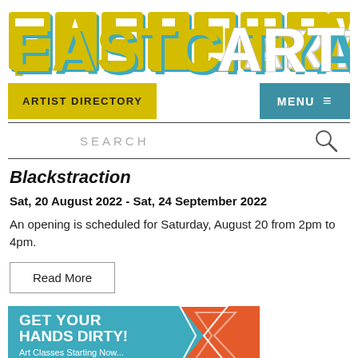[Figure (logo): EastCityArt logo in large block letters, teal/yellow/white color scheme]
ARTIST DIRECTORY  |  MENU
SEARCH
Blackstraction
Sat, 20 August 2022 - Sat, 24 September 2022
An opening is scheduled for Saturday, August 20 from 2pm to 4pm.
Read More
[Figure (illustration): Banner image with teal background, orange arrow graphic, and text: GET YOUR HANDS DIRTY!]